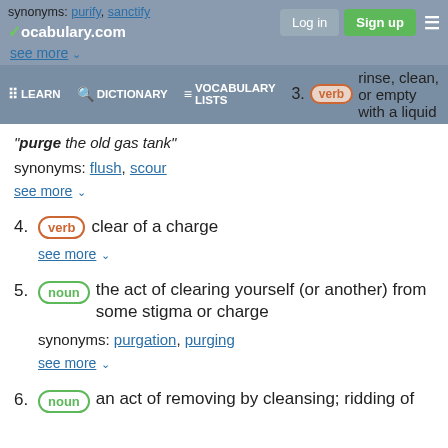synonyms: purify, sanctify | vocabulary.com | Log in | Sign up
see more
3. verb rinse, clean, or empty with a liquid
"purge the old gas tank"
synonyms: flush, scour
see more
4. verb clear of a charge
see more
5. noun the act of clearing yourself (or another) from some stigma or charge
synonyms: purgation, purging
see more
6. noun an act of removing by cleansing; ridding of something